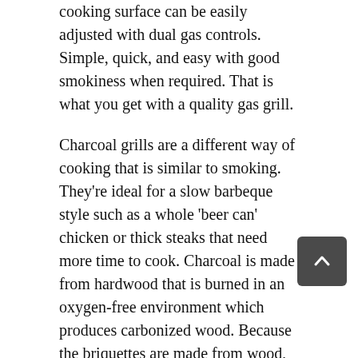cooking surface can be easily adjusted with dual gas controls. Simple, quick, and easy with good smokiness when required. That is what you get with a quality gas grill.
Charcoal grills are a different way of cooking that is similar to smoking. They're ideal for a slow barbeque style such as a whole 'beer can' chicken or thick steaks that need more time to cook. Charcoal is made from hardwood that is burned in an oxygen-free environment which produces carbonized wood. Because the briquettes are made from wood, the resulting burn will taste and smell a little like the tree the charcoal was made from. Some chefs will supplement the natural taste with a little wood of their own, perhaps from an apple branch or some driftwood. An electric charcoal starter helps to light the briquettes. Once the coals are an evenly lit, you can begin grilling.
If you have a charcoal grill, you might want to experiment with wood or wood pellets. Both will